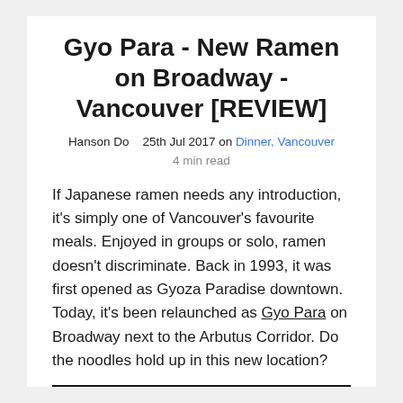Gyo Para - New Ramen on Broadway - Vancouver [REVIEW]
Hanson Do   25th Jul 2017 on Dinner, Vancouver
4 min read
If Japanese ramen needs any introduction, it's simply one of Vancouver's favourite meals. Enjoyed in groups or solo, ramen doesn't discriminate. Back in 1993, it was first opened as Gyoza Paradise downtown. Today, it's been relaunched as Gyo Para on Broadway next to the Arbutus Corridor. Do the noodles hold up in this new location?
[Figure (photo): Close-up photo of ramen dish, partially visible at bottom of page]